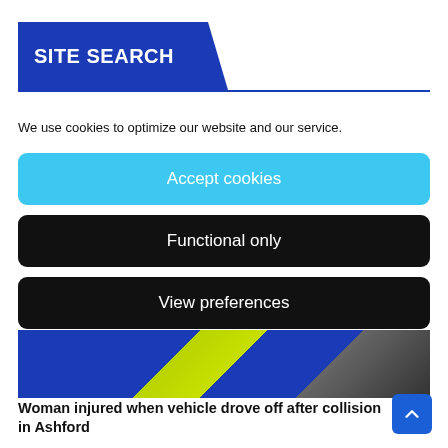SITE SEARCH
We use cookies to optimize our website and our service.
Accept cookies
Functional only
View preferences
[Figure (photo): Blurred image with blue and yellow/green geometric shapes, appears to be a news article thumbnail]
Woman injured when vehicle drove off after collision in Ashford